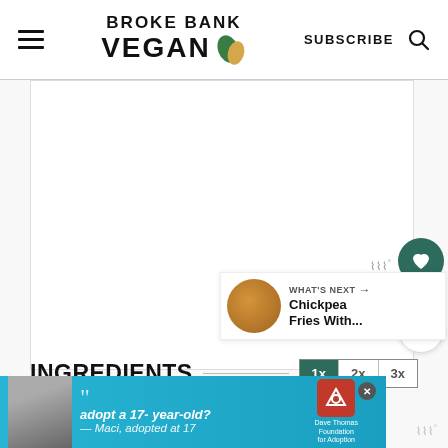BROKE BANK VEGAN | SUBSCRIBE
[Figure (screenshot): Webpage screenshot of Broke Bank Vegan recipe site showing a blank/loading recipe image area, a heart/save button with 358 count, a share button, a 'What's Next' panel showing Chickpea Fries With... thumbnail, an INGREDIENTS heading with 1x 2x 3x multiplier buttons, and an advertisement banner at the bottom for Dave Thomas Foundation for Adoption with text 'adopt a 17-year-old? — Maci, adopted at 17']